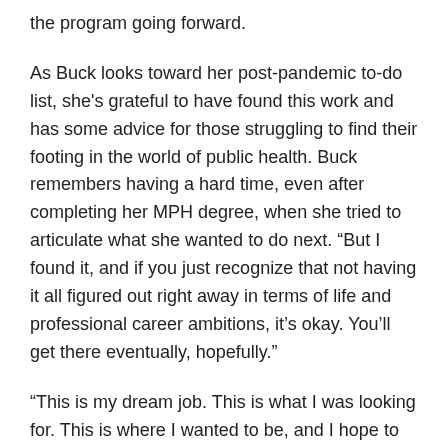the program going forward.
As Buck looks toward her post-pandemic to-do list, she's grateful to have found this work and has some advice for those struggling to find their footing in the world of public health. Buck remembers having a hard time, even after completing her MPH degree, when she tried to articulate what she wanted to do next. “But I found it, and if you just recognize that not having it all figured out right away in terms of life and professional career ambitions, it’s okay. You’ll get there eventually, hopefully.”
“This is my dream job. This is what I was looking for. This is where I wanted to be, and I hope to be here for a long time.”